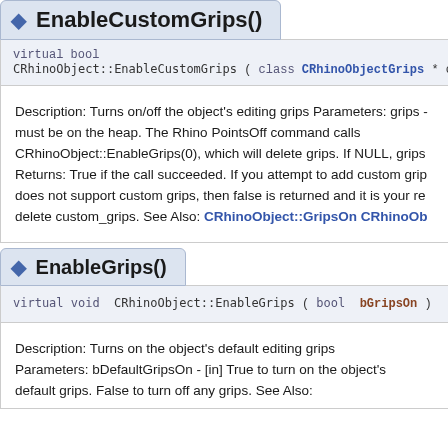EnableCustomGrips()
virtual bool CRhinoObject::EnableCustomGrips ( class CRhinoObjectGrips * cu
Description: Turns on/off the object's editing grips Parameters: grips - must be on the heap. The Rhino PointsOff command calls CRhinoObject::EnableGrips(0), which will delete grips. If NULL, grips Returns: True if the call succeeded. If you attempt to add custom grips does not support custom grips, then false is returned and it is your re delete custom_grips. See Also: CRhinoObject::GripsOn CRhinoOb
EnableGrips()
virtual void CRhinoObject::EnableGrips ( bool  bGripsOn ) virtual
Description: Turns on the object's default editing grips Parameters: bDefaultGripsOn - [in] True to turn on the object's default grips. False to turn off any grips. See Also: